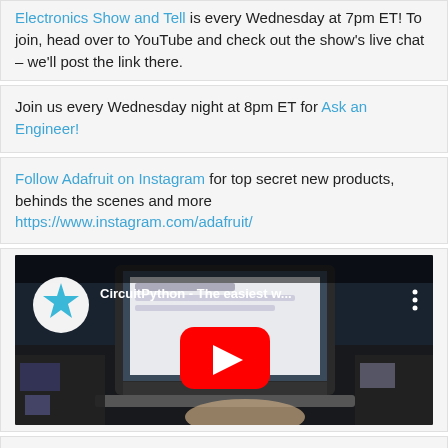Electronics Show and Tell is every Wednesday at 7pm ET! To join, head over to YouTube and check out the show's live chat – we'll post the link there.
Join us every Wednesday night at 8pm ET for Ask an Engineer!
Follow Adafruit on Instagram for top secret new products, behinds the scenes and more https://www.instagram.com/adafruit/
[Figure (screenshot): YouTube video thumbnail showing CircuitPython - The easiest w... with Adafruit logo and red play button over a laptop with electronics]
CircuitPython – The easiest way to program microcontrollers – CircuitPython.org